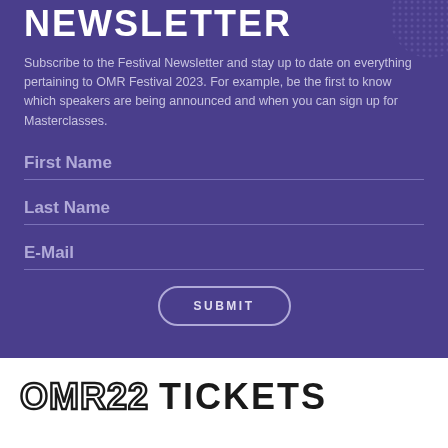NEWSLETTER
Subscribe to the Festival Newsletter and stay up to date on everything pertaining to OMR Festival 2023. For example, be the first to know which speakers are being announced and when you can sign up for Masterclasses.
[Figure (other): Newsletter signup form with fields for First Name, Last Name, E-Mail and a SUBMIT button on a purple background]
OMR22 TICKETS